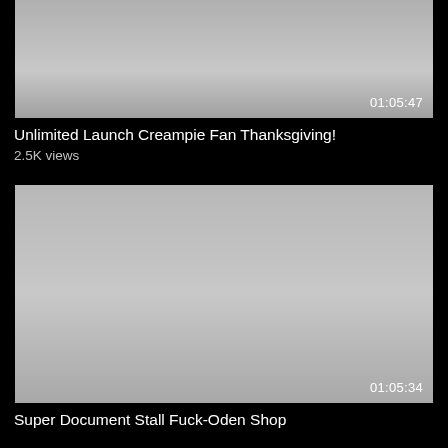[Figure (screenshot): Video thumbnail placeholder - gray rectangle with duration 01:05:47 in bottom right corner]
Unlimited Launch Creampie Fan Thanksgiving!
2.5K views
[Figure (screenshot): Video thumbnail placeholder - gray rectangle with duration 01:05:34 in bottom right corner]
Super Document Stall Fuck-Oden Shop